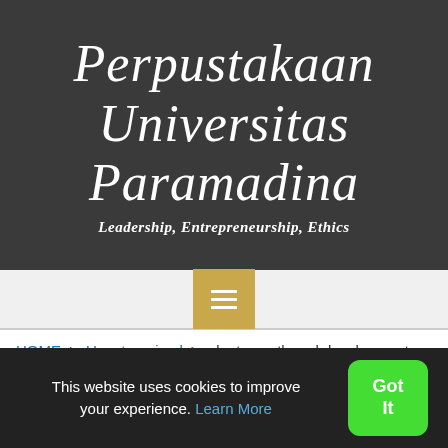Perpustakaan Universitas Paramadina
Leadership, Entrepreneurship, Ethics
HOME > Uncategorized > plant growth and development
December 2, 2020
This website uses cookies to improve your experience. Learn More